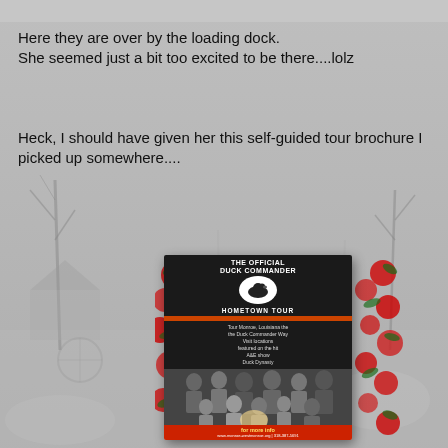[Figure (photo): Faded background photo of a misty winter outdoor scene with bare trees, and possibly a loading dock area. Gray and muted tones.]
Here they are over by the loading dock.
She seemed just a bit too excited to be there....lolz
Heck, I should have given her this self-guided tour brochure I picked up somewhere....
[Figure (photo): Photo of 'The Official Duck Commander Hometown Tour' brochure, showing the brochure cover with a group photo of the Duck Dynasty cast, holly/poinsettia decorations on sides, text listing tour locations featured on the A&E show Duck Dynasty, and footer with website and phone number for more info.]